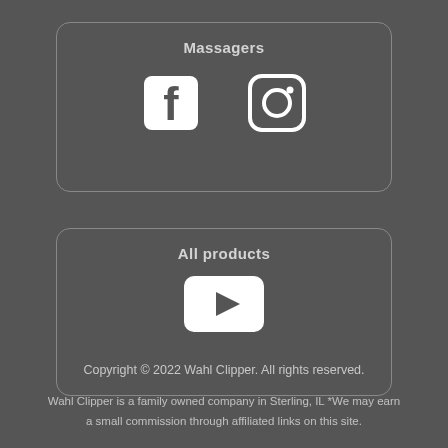[Figure (infographic): Rounded rectangle card labeled 'Massagers' containing Facebook and Instagram social media icons]
[Figure (infographic): Rounded rectangle card labeled 'All products' containing a YouTube play button icon]
Copyright © 2022 Wahl Clipper. All rights reserved.
Wahl Clipper is a family owned company in Sterling, IL *We may earn a small commission through affiliated links on this site.